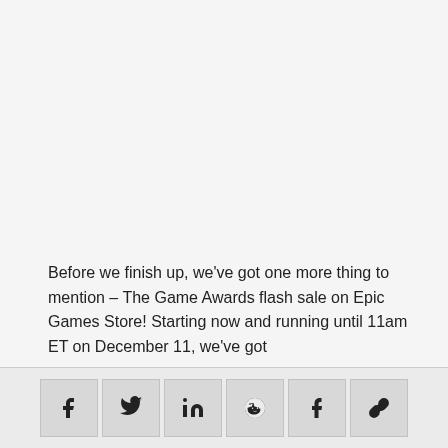Before we finish up, we've got one more thing to mention – The Game Awards flash sale on Epic Games Store! Starting now and running until 11am ET on December 11, we've got
[Figure (other): Social share bar with icons for Facebook, Twitter, LinkedIn, Reddit, Tumblr, and link/copy]